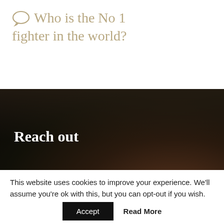Who is the No 1 fighter in the world?
[Figure (photo): Dark blurred background photo with text overlays 'Reach out' and 'Find us at the office' with a location pin icon]
This website uses cookies to improve your experience. We'll assume you're ok with this, but you can opt-out if you wish.
Accept  Read More